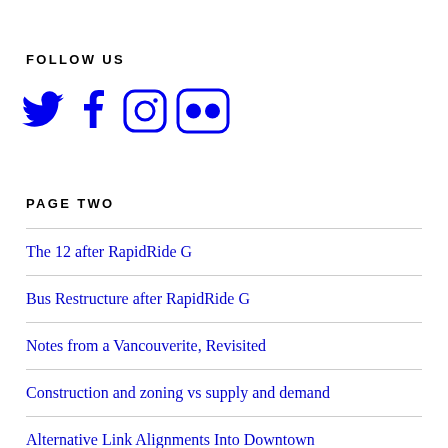FOLLOW US
[Figure (illustration): Social media icons: Twitter (bird), Facebook (f), Instagram (camera), Flickr (two circles)]
PAGE TWO
The 12 after RapidRide G
Bus Restructure after RapidRide G
Notes from a Vancouverite, Revisited
Construction and zoning vs supply and demand
Alternative Link Alignments Into Downtown